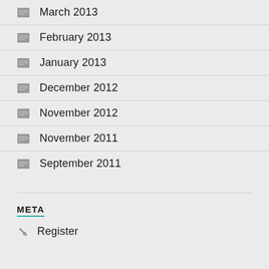March 2013
February 2013
January 2013
December 2012
November 2012
November 2011
September 2011
META
Register